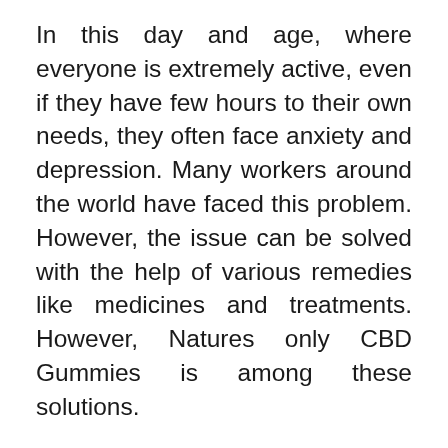In this day and age, where everyone is extremely active, even if they have few hours to their own needs, they often face anxiety and depression. Many workers around the world have faced this problem. However, the issue can be solved with the help of various remedies like medicines and treatments. However, Natures only CBD Gummies is among these solutions.
Nflbite CBD Gummies is organically developed and CBD-backed gummies with a strong CBD created to restore an ideal and healthy lifestyle. These Gummies are completely free of contamination and do not have